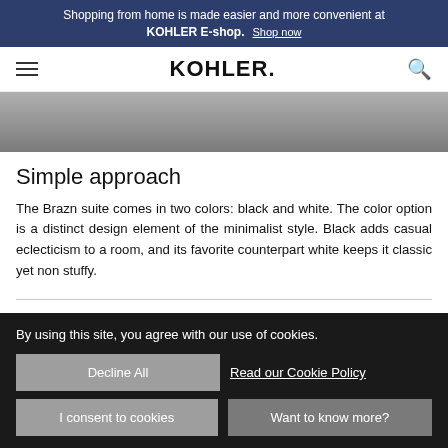Shopping from home is made easier and more convenient at KOHLER E-shop. Shop now
KOHLER.
[Figure (photo): Partial view of a bathroom fixture in grey tones, cropped at top]
Simple approach
The Brazn suite comes in two colors: black and white. The color option is a distinct design element of the minimalist style. Black adds casual eclecticism to a room, and its favorite counterpart white keeps it classic yet non stuffy.
By using this site, you agree with our use of cookies.
Decline All
Read our Cookie Policy
I consent to cookies
Want to know more?